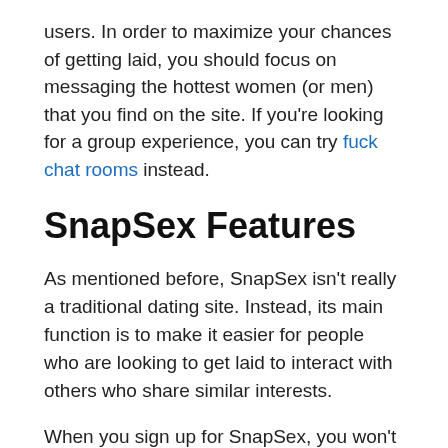users. In order to maximize your chances of getting laid, you should focus on messaging the hottest women (or men) that you find on the site. If you're looking for a group experience, you can try fuck chat rooms instead.
SnapSex Features
As mentioned before, SnapSex isn't really a traditional dating site. Instead, its main function is to make it easier for people who are looking to get laid to interact with others who share similar interests.
When you sign up for SnapSex, you won't have to deal with any of the annoying forms to fill out or pointless questions about yourself. Instead, all you need to do is give them your gender, sexual orientation, age range, etc. Then you can start browsing hot girls from around the world and sexting with them, or search for local girls